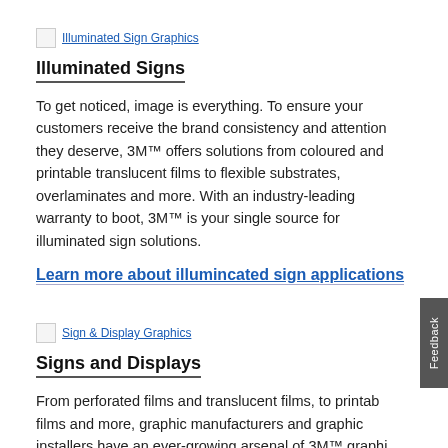[Figure (other): Broken image icon for Illuminated Sign Graphics]
Illuminated Signs
To get noticed, image is everything. To ensure your customers receive the brand consistency and attention they deserve, 3M™ offers solutions from coloured and printable translucent films to flexible substrates, overlaminates and more. With an industry-leading warranty to boot, 3M™ is your single source for illuminated sign solutions.
Learn more about illumincated sign applications
[Figure (other): Broken image icon for Sign & Display Graphics]
Signs and Displays
From perforated films and translucent films, to printable films and more, graphic manufacturers and graphic installers have an ever-growing arsenal of 3M™ graphi